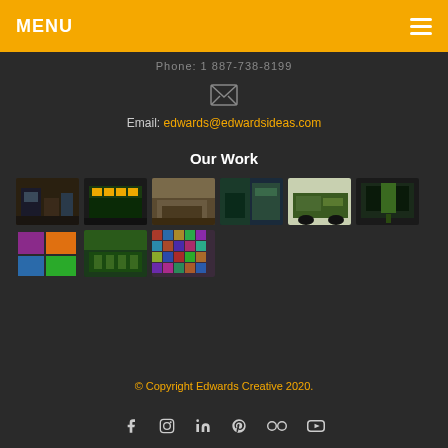MENU
Phone: 1 887-738-8199
Email: edwards@edwardsideas.com
Our Work
[Figure (photo): Grid of 9 exhibition and display booth photographs showing various trade show displays and installations]
© Copyright Edwards Creative 2020.